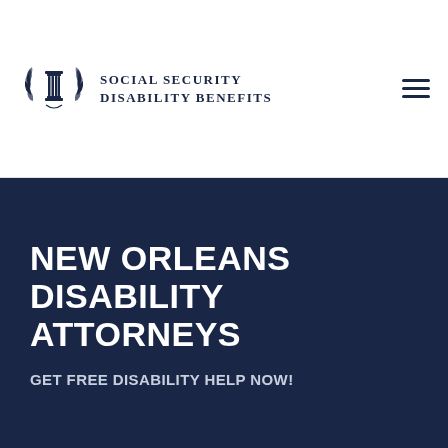[Figure (logo): Social Security Disability Benefits logo with column/pillar icon and laurel wreath, accompanied by text 'SOCIAL SECURITY DISABILITY BENEFITS' in serif uppercase]
NEW ORLEANS DISABILITY ATTORNEYS
GET FREE DISABILITY HELP NOW!